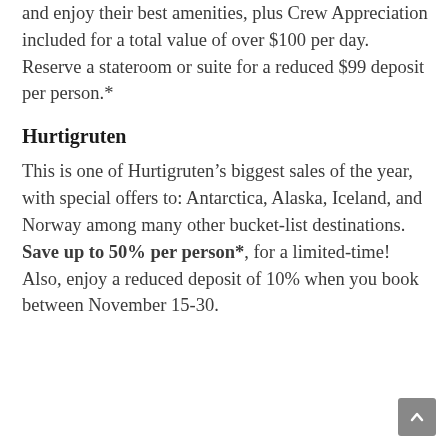and enjoy their best amenities, plus Crew Appreciation included for a total value of over $100 per day. Reserve a stateroom or suite for a reduced $99 deposit per person.*
Hurtigruten
This is one of Hurtigruten's biggest sales of the year, with special offers to: Antarctica, Alaska, Iceland, and Norway among many other bucket-list destinations. Save up to 50% per person*, for a limited-time! Also, enjoy a reduced deposit of 10% when you book between November 15-30.